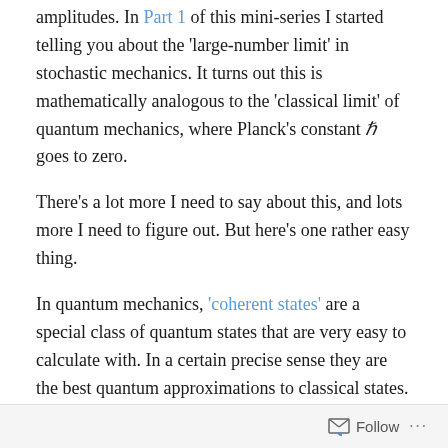amplitudes. In Part 1 of this mini-series I started telling you about the 'large-number limit' in stochastic mechanics. It turns out this is mathematically analogous to the 'classical limit' of quantum mechanics, where Planck's constant ℏ goes to zero.
There's a lot more I need to say about this, and lots more I need to figure out. But here's one rather easy thing.
In quantum mechanics, 'coherent states' are a special class of quantum states that are very easy to calculate with. In a certain precise sense they are the best quantum approximations to classical states. This makes them good tools for studying the classical limit of quantum mechanics. As ℏ → 0, they reduce to classical states where, for example, a particle has a definite position and momentum.
Follow